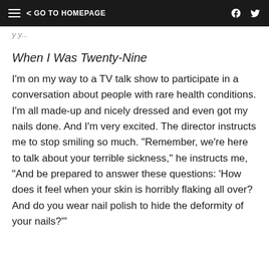GO TO HOMEPAGE
y...y...
When I Was Twenty-Nine
I'm on my way to a TV talk show to participate in a conversation about people with rare health conditions. I'm all made-up and nicely dressed and even got my nails done. And I'm very excited. The director instructs me to stop smiling so much. "Remember, we're here to talk about your terrible sickness," he instructs me, "And be prepared to answer these questions: 'How does it feel when your skin is horribly flaking all over? And do you wear nail polish to hide the deformity of your nails?'"